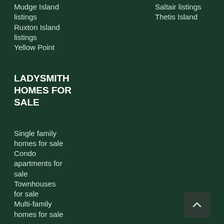Mudge Island listings
Ruxton Island listings
Yellow Point
Saltair listings
Thetis Island
LADYSMITH HOMES FOR SALE
Single family homes for sale
Condo apartments for sale
Townhouses for sale
Multi-family homes for sale